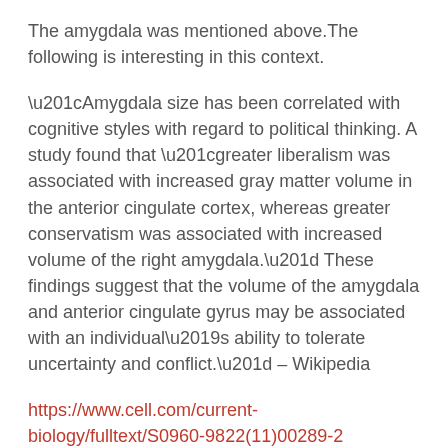The amygdala was mentioned above.The following is interesting in this context.
“Amygdala size has been correlated with cognitive styles with regard to political thinking. A study found that “greater liberalism was associated with increased gray matter volume in the anterior cingulate cortex, whereas greater conservatism was associated with increased volume of the right amygdala.” These findings suggest that the volume of the amygdala and anterior cingulate gyrus may be associated with an individual’s ability to tolerate uncertainty and conflict.” – Wikipedia
https://www.cell.com/current-biology/fulltext/S0960-9822(11)00289-2